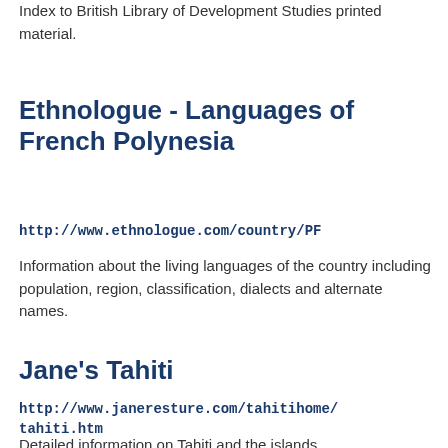Index to British Library of Development Studies printed material.
Ethnologue - Languages of French Polynesia
http://www.ethnologue.com/country/PF
Information about the living languages of the country including population, region, classification, dialects and alternate names.
Jane's Tahiti
http://www.janeresture.com/tahitihome/tahiti.htm
Detailed information on Tahiti and the islands